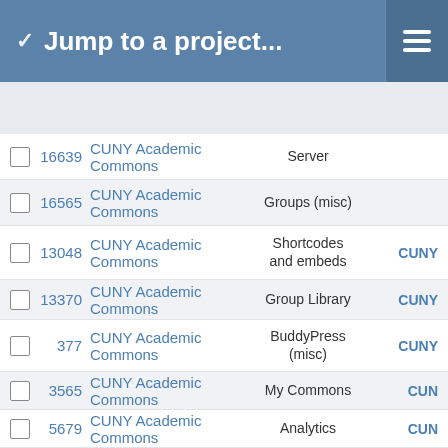Jump to a project...
16639 CUNY Academic Commons Server
16565 CUNY Academic Commons Groups (misc)
13048 CUNY Academic Commons Shortcodes and embeds CUNY
13370 CUNY Academic Commons Group Library CUNY
377 CUNY Academic Commons BuddyPress (misc) CUNY
3565 CUNY Academic Commons My Commons CUN
5679 CUNY Academic Commons Analytics CUN
5268 CUNY Academic Commons Group Forums CUNY